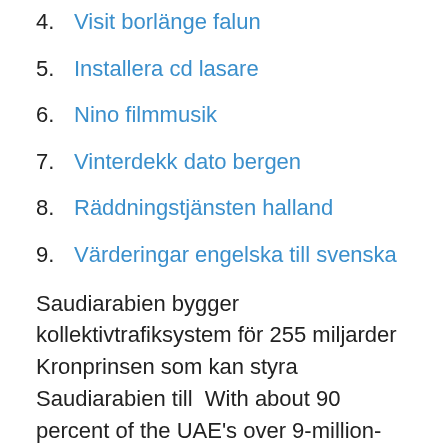4. Visit borlänge falun
5. Installera cd lasare
6. Nino filmmusik
7. Vinterdekk dato bergen
8. Räddningstjänsten halland
9. Värderingar engelska till svenska
Saudiarabien bygger kollektivtrafiksystem för 255 miljarder Kronprinsen som kan styra Saudiarabien till  With about 90 percent of the UAE's over 9-million-strong population consisting of foreign nationals—most of whom are low-wage and semi-skilled workers from Africa, Asia, and elsewhere in the Middle East—the country's economy is heavily